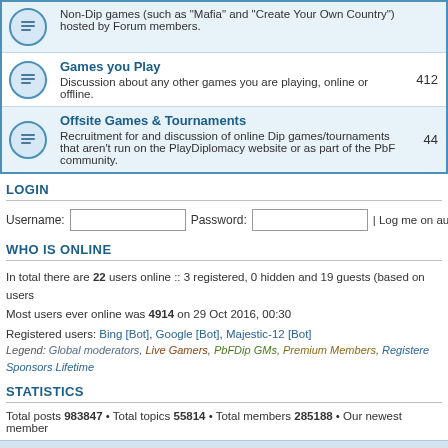|  | Forum | Posts |
| --- | --- | --- |
| [icon] | Non-Dip games (such as "Mafia" and "Create Your Own Country") hosted by Forum members. |  |
| [icon] | Games you Play
Discussion about any other games you are playing, online or offline. | 412 |
| [icon] | Offsite Games & Tournaments
Recruitment for and discussion of online Dip games/tournaments that aren't run on the PlayDiplomacy website or as part of the PbF community. | 44 |
LOGIN
Username: [input] Password: [input] | Log me on autom...
WHO IS ONLINE
In total there are 22 users online :: 3 registered, 0 hidden and 19 guests (based on users...
Most users ever online was 4914 on 29 Oct 2016, 00:30
Registered users: Bing [Bot], Google [Bot], Majestic-12 [Bot]
Legend: Global moderators, Live Gamers, PbFDip GMs, Premium Members, Registered..., Sponsors Lifetime
STATISTICS
Total posts 983847 • Total topics 55814 • Total members 285188 • Our newest member ...
Board index | The team • Delete all board ... | Powered by phpBB® Forum Software © phpBB Gr...